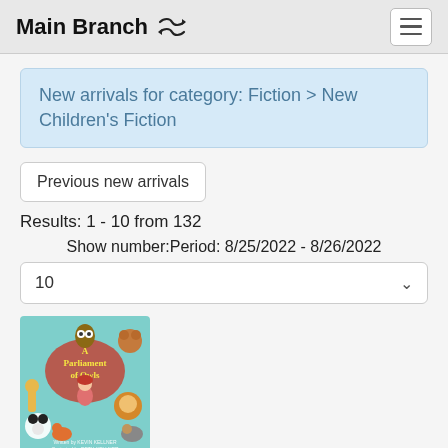Main Branch ⇌
New arrivals for category: Fiction > New Children's Fiction
Previous new arrivals
Results: 1 - 10 from 132
Show number:Period: 8/25/2022 - 8/26/2022
10
[Figure (photo): Book cover for 'A Parliament of Owls' — colorful illustrated children's book cover featuring animated owl and animal characters]